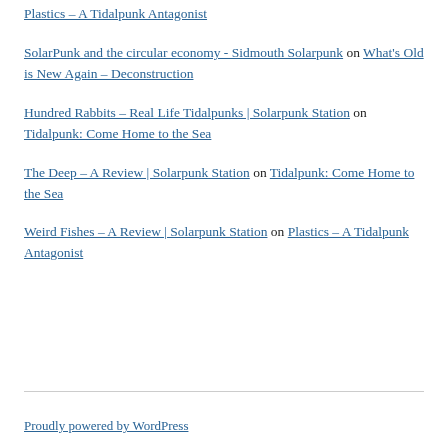Plastics – A Tidalpunk Antagonist
SolarPunk and the circular economy - Sidmouth Solarpunk on What's Old is New Again – Deconstruction
Hundred Rabbits – Real Life Tidalpunks | Solarpunk Station on Tidalpunk: Come Home to the Sea
The Deep – A Review | Solarpunk Station on Tidalpunk: Come Home to the Sea
Weird Fishes – A Review | Solarpunk Station on Plastics – A Tidalpunk Antagonist
Proudly powered by WordPress